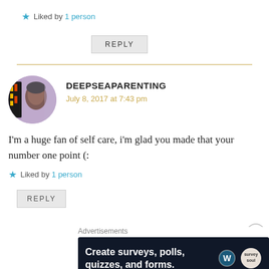★ Liked by 1 person
REPLY
[Figure (photo): Circular avatar photo of a person]
DEEPSEAPARENTING
July 8, 2017 at 7:43 pm
I'm a huge fan of self care, i'm glad you made that your number one point (:
★ Liked by 1 person
REPLY
Advertisements
[Figure (infographic): Advertisement banner: Create surveys, polls, quizzes, and forms. Dark background with WordPress and Survey logos.]